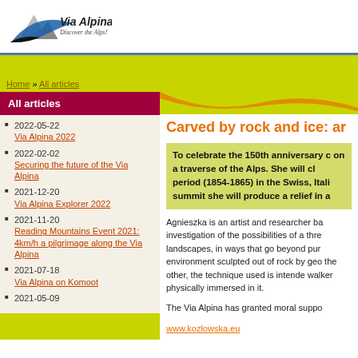[Figure (logo): Via Alpina logo with mountain graphic and text 'Via Alpina Discover the Alps!']
Home » All articles
All articles
2022-05-22 Via Alpina 2022
2022-02-02 Securing the future of the Via Alpina
2021-12-20 Via Alpina Explorer 2022
2021-11-20 Reading Mountains Event 2021: 4km/h a pilgrimage along the Via Alpina
2021-07-18 Via Alpina on Komoot
2021-05-09
Carved by rock and ice: ar
To celebrate the 150th anniversary c on a traverse of the Alps. She will cl period (1854-1865) in the Swiss, Itali summit she will produce a relief in a
Agnieszka is an artist and researcher ba investigation of the possibilities of a thre landscapes, in ways that go beyond pur environment sculpted out of rock by geo the other, the technique used is intende walker physically immersed in it.
The Via Alpina has granted moral suppo
www.kozlowska.eu